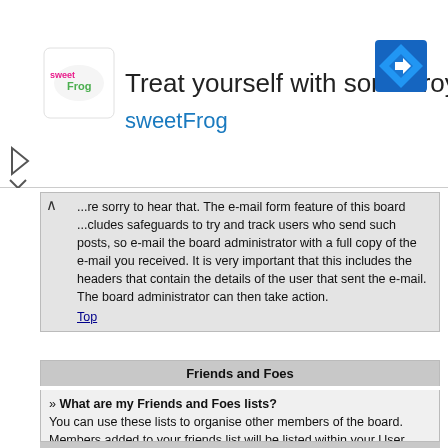[Figure (logo): sweetFrog frozen yogurt advertisement banner with logo, text 'Treat yourself with some froyo sweetFrog', and navigation icon]
...re sorry to hear that. The e-mail form feature of this board ...cludes safeguards to try and track users who send such posts, so e-mail the board administrator with a full copy of the e-mail you received. It is very important that this includes the headers that contain the details of the user that sent the e-mail. The board administrator can then take action.
Top
Friends and Foes
» What are my Friends and Foes lists? You can use these lists to organise other members of the board. Members added to your friends list will be listed within your User Control Panel for quick access to see their online status and to send them private messages. Subject to template support, posts from these users may also be highlighted. If you add a user to your foes list, any posts they make will be hidden by default.
Top